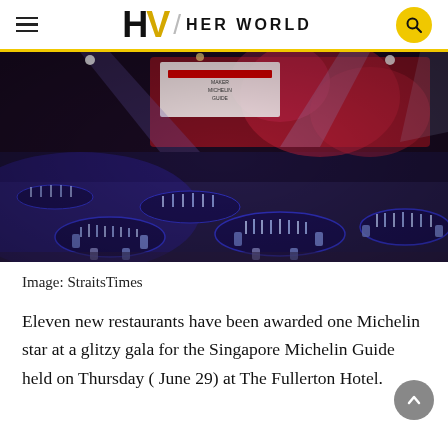HW | HER WORLD
[Figure (photo): A ballroom set up for a gala dinner with round tables covered in dark tablecloths and glassware, chairs with white/blue sashes, dramatic stage lighting in purple/blue/red hues, and a Michelin backdrop on stage.]
Image: StraitsTimes
Eleven new restaurants have been awarded one Michelin star at a glitzy gala for the Singapore Michelin Guide held on Thursday ( June 29) at The Fullerton Hotel.